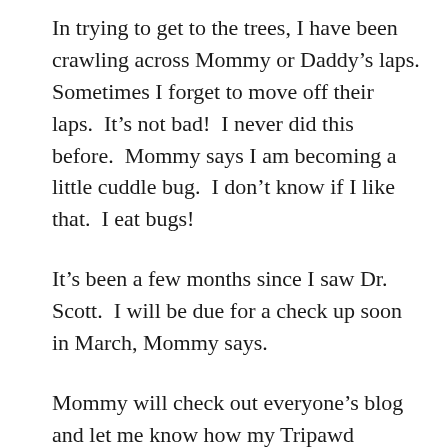In trying to get to the trees, I have been crawling across Mommy or Daddy’s laps. Sometimes I forget to move off their laps. It’s not bad! I never did this before. Mommy says I am becoming a little cuddle bug. I don’t know if I like that. I eat bugs!
It’s been a few months since I saw Dr. Scott. I will be due for a check up soon in March, Mommy says.
Mommy will check out everyone’s blog and let me know how my Tripawd buddies are doing.